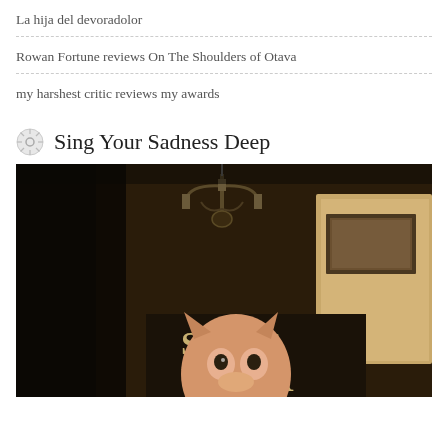La hija del devoradolor
Rowan Fortune reviews On The Shoulders of Otava
my harshest critic reviews my awards
Sing Your Sadness Deep
[Figure (illustration): Book cover for 'Sing Your Sadness Deep' showing a fox or cat figure in front of a dark interior painting with a candelabra above, and the title text 'SING YOUR' visible on a dark panel.]